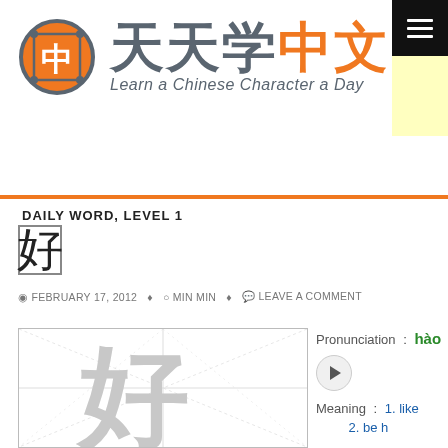[Figure (logo): Tian Tian Xue Zhongwen logo - orange circle with Chinese character 中, gray and orange Chinese characters 天天学中文, tagline 'Learn a Chinese Character a Day']
DAILY WORD, LEVEL 1
好
FEBRUARY 17, 2012  MIN MIN  LEAVE A COMMENT
[Figure (illustration): Chinese character 好 written in gray brush stroke style on a grid with diagonal guidelines]
Pronunciation : hào
Meaning : 1. like
2. be h
Radical : 女
Strokes : 6